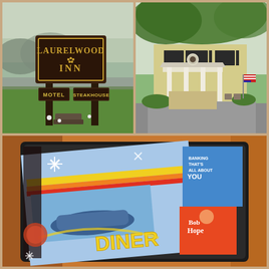[Figure (photo): Laurelwood Inn sign with dark brown wooden sign reading 'LAURELWOOD INN' with grape cluster decoration and two sub-signs reading 'MOTEL' and 'STEAKHOUSE', set in front of a green grassy area with mountains in the background]
[Figure (photo): Exterior of Laurelwood Inn motel building showing a white colonial-style entrance with columns, covered porch, circular decorative emblem above entrance, green shrubs, and an American flag visible on the right]
[Figure (photo): Close-up of colorful vintage-style placemats or magazine covers on a tablet or framed display, featuring retro 1950s-60s diner imagery with text 'DINER', 'Bob Hope', and 'BANKING THAT'S ALL ABOUT YOU', with bright orange background and sparkle effects]